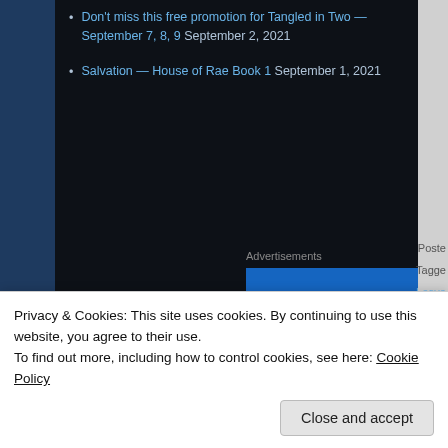Don't miss this free promotion for Tangled in Two — September 7, 8, 9 September 2, 2021
Salvation — House of Rae Book 1 September 1, 2021
Advertisements
[Figure (logo): WordPress.com logo on a blue-to-green gradient advertisement banner]
Posted
Tagged
Leave
Privacy & Cookies: This site uses cookies. By continuing to use this website, you agree to their use.
To find out more, including how to control cookies, see here: Cookie Policy
Close and accept